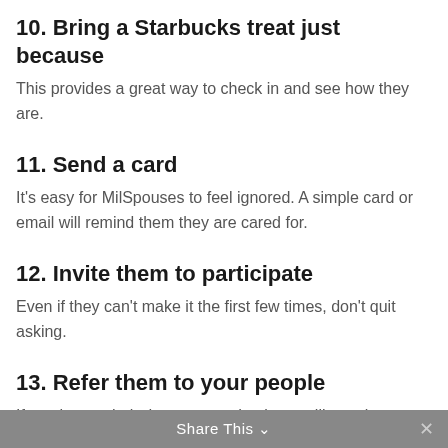10. Bring a Starbucks treat just because
This provides a great way to check in and see how they are.
11. Send a card
It's easy for MilSpouses to feel ignored. A simple card or email will remind them they are cared for.
12. Invite them to participate
Even if they can't make it the first few times, don't quit asking.
13. Refer them to your people
If you have a hair dresser or a dentist you like, ask your MilSpouse friend if they would like their contact info.
14. Give the gift of green
Potted flowers can truly brighten a home!
Share This ∨  ✕